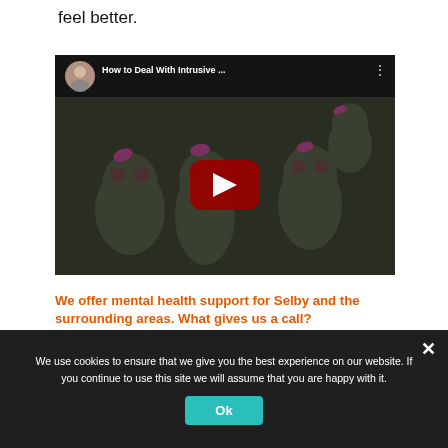feel better.
[Figure (screenshot): YouTube video thumbnail showing 'How to Deal With Intrusive ...' with a presenter avatar circle and cartoon monster characters on a dark background, with a red play button in the center.]
We offer mental health support for Selby and the surrounding areas. What gives us a call?
We use cookies to ensure that we give you the best experience on our website. If you continue to use this site we will assume that you are happy with it.